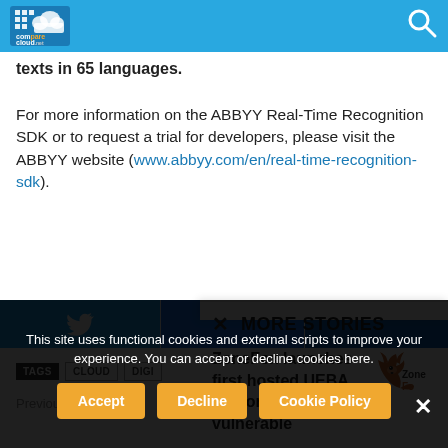comparecloud.net
texts in 65 languages.
For more information on the ABBYY Real-Time Recognition SDK or to request a trial for developers, please visit the ABBYY website (www.abbyy.com/en/real-time-recognition-sdk).
[Figure (screenshot): Twitter share button (blue bird icon)]
TAGS  CLOUD  DIGI...
Previous article
MORE STORIES
ZoneFox launches first hosted UEBA platform to protect vulnerable
[Figure (logo): ZoneFox logo with orange fox icon]
This site uses functional cookies and external scripts to improve your experience. You can accept or decline cookies here.